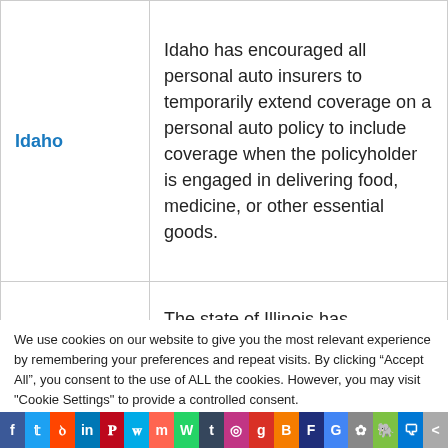| State | Description |
| --- | --- |
| Idaho | Idaho has encouraged all personal auto insurers to temporarily extend coverage on a personal auto policy to include coverage when the policyholder is engaged in delivering food, medicine, or other essential goods. |
|  | The state of Illinois has... |
We use cookies on our website to give you the most relevant experience by remembering your preferences and repeat visits. By clicking “Accept All”, you consent to the use of ALL the cookies. However, you may visit "Cookie Settings" to provide a controlled consent.